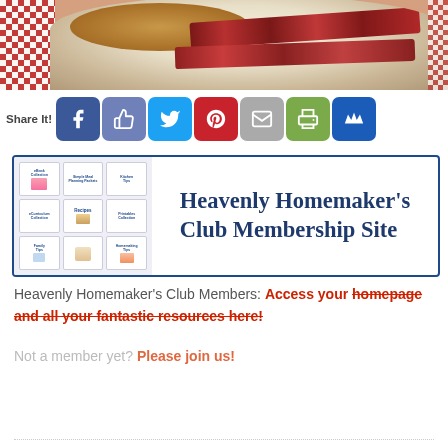[Figure (photo): Food photo showing pancakes and bacon on a plate with a red checkered tablecloth background]
Share It!
[Figure (screenshot): Social share buttons: Facebook, Like, Twitter, Pinterest, Email, Print, Crown/Feather]
[Figure (logo): Heavenly Homemaker's Club Membership Site banner with grid of mini resource cards on the left and text on the right]
Heavenly Homemaker's Club Members: Access your homepage and all your fantastic resources here!
Not a member yet? Please join us!